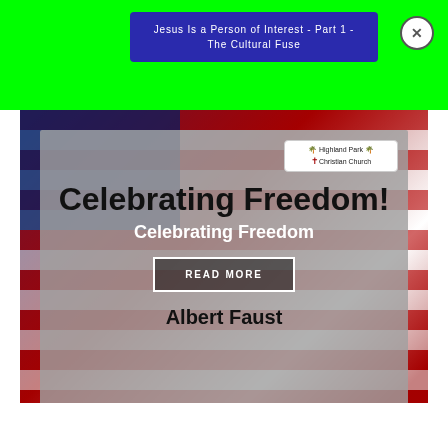Jesus Is a Person of Interest - Part 1 - The Cultural Fuse
[Figure (screenshot): Screenshot of a church website showing a modal overlay. Background is an American flag image. An overlay panel shows 'Celebrating Freedom!' in large bold text, 'Celebrating Freedom' in white bold text below, a 'READ MORE' button, and 'Albert Faust' text. Highland Park Christian Church logo in upper right of overlay. A bright green notification bar at the top with a dark blue popup box showing the title text. An X close button in top right corner.]
Celebrating Freedom!
Celebrating Freedom
READ MORE
Albert Faust